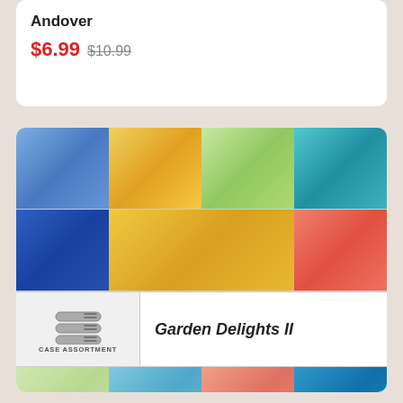Andover
$6.99 $10.99
[Figure (photo): Fabric swatch collection image for Garden Delights II showing colorful floral patterns in a grid layout with a case assortment label]
PRODUCT
Garden Delights II JR (36)
$38.99